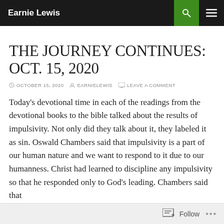Earnie Lewis
THE JOURNEY CONTINUES: OCT. 15, 2020
OCTOBER 15, 2020  EARNIELEWIS  LEAVE A COMMENT
Today's devotional time in each of the readings from the devotional books to the bible talked about the results of impulsivity. Not only did they talk about it, they labeled it as sin. Oswald Chambers said that impulsivity is a part of our human nature and we want to respond to it due to our humanness. Christ had learned to discipline any impulsivity so that he responded only to God's leading. Chambers said that
Follow ...